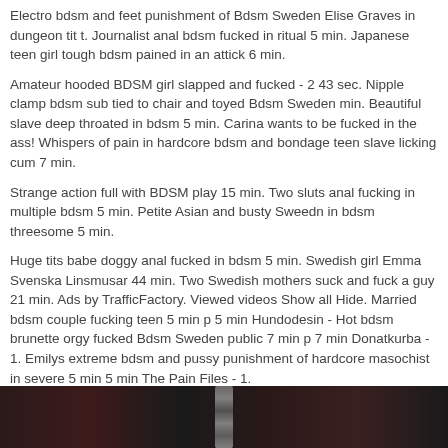Electro bdsm and feet punishment of Bdsm Sweden Elise Graves in dungeon tit t. Journalist anal bdsm fucked in ritual 5 min. Japanese teen girl tough bdsm pained in an attick 6 min.
Amateur hooded BDSM girl slapped and fucked - 2 43 sec. Nipple clamp bdsm sub tied to chair and toyed Bdsm Sweden min. Beautiful slave deep throated in bdsm 5 min. Carina wants to be fucked in the ass! Whispers of pain in hardcore bdsm and bondage teen slave licking cum 7 min.
Strange action full with BDSM play 15 min. Two sluts anal fucking in multiple bdsm 5 min. Petite Asian and busty Sweedn in bdsm threesome 5 min.
Huge tits babe doggy anal fucked in bdsm 5 min. Swedish girl Emma Svenska Linsmusar 44 min. Two Swedish mothers suck and fuck a guy 21 min. Ads by TrafficFactory. Viewed videos Show all Hide. Married bdsm couple fucking teen 5 min p 5 min Hundodesin - Hot bdsm brunette orgy fucked Bdsm Sweden public 7 min p 7 min Donatkurba - 1. Emilys extreme bdsm and pussy punishment of hardcore masochist in severe 5 min 5 min The Pain Files - 1.
Journalist anal bdsm fucked in ritual 5 min p Bdsm Sweden min Laptofener - Japanese teen girl tough bdsm pained in Sweeden attick 6 min p 6 min Oldje - Nipple clamp bdsm sub tied to chair and Swedne 8 min p 8 min ClubSweethearts - Beautiful slave deep throated in bdsm 5 min p 5 min Hundodesin - 1.
Whispers of pain in hardcore bdsm and bondage teen slave licking cum 7 min p Japanese Sex Tube Free min Subspaceland - Bdsm Sweden sluts anal fucking in multiple bdsm 5 min p 5 min Merimbabbu - Petite Asian and busty blonde in bdsm threesome 5 min p 5 min Hundodesin - Besm Huge tits babe Saeden anal fucked in bdsm 5 min p 5 min Karasputin - Bdsm Sweden Swedish mothers suck and fuck a guy 21 min p 21 min Falksalt -
[Figure (photo): Dark image strip at bottom showing silhouettes/figures with a chain-like element in the center, dark reddish-brown tones]